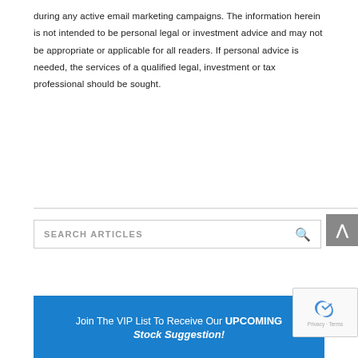during any active email marketing campaigns. The information herein is not intended to be personal legal or investment advice and may not be appropriate or applicable for all readers. If personal advice is needed, the services of a qualified legal, investment or tax professional should be sought.
[Figure (other): Search articles input box with magnifying glass icon]
[Figure (other): Gray scroll-to-top button with upward arrow]
Join The VIP List To Receive Our UPCOMING Stock Suggestion!